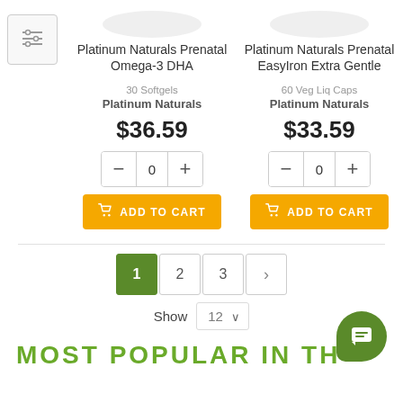[Figure (screenshot): Product listing page showing two prenatal supplement products with prices, quantity controls, and add to cart buttons, followed by pagination controls and a 'Most Popular' section header.]
Platinum Naturals Prenatal Omega-3 DHA
30 Softgels
Platinum Naturals
$36.59
Platinum Naturals Prenatal EasyIron Extra Gentle
60 Veg Liq Caps
Platinum Naturals
$33.59
1 2 3 >
Show 12
MOST POPULAR IN TH